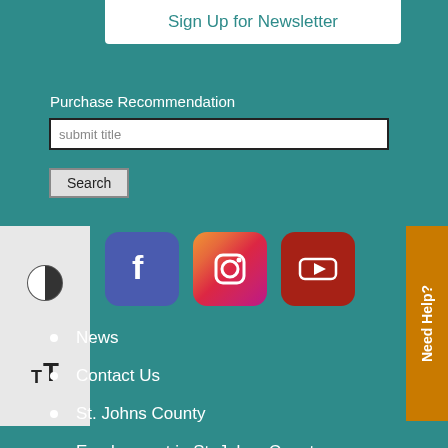Sign Up for Newsletter
Purchase Recommendation
submit title
Search
[Figure (screenshot): Accessibility panel with contrast toggle and font size controls]
[Figure (illustration): Facebook, Instagram, and YouTube social media icons]
Need Help?
News
Contact Us
St. Johns County
Employment in St. Johns County